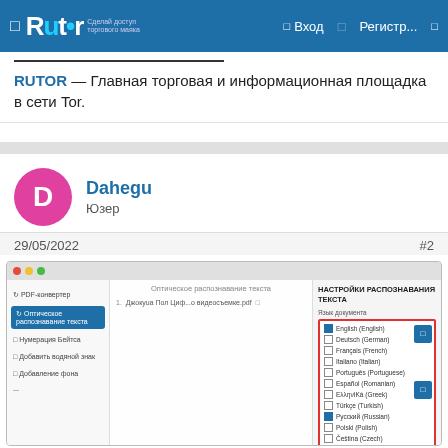Rutor — Вход — Регистр...
RUTOR — Главная торговая и информационная площадка в сети Tor.
Dahegu
Юзер
29/05/2022    #2
[Figure (screenshot): Screenshot of a PDF tool application showing OCR (Optical Character Recognition) interface with sidebar options including PDF-converter, Optical text recognition, Page numbering, Add watermark, Add background. Center shows a file list. Right panel shows text recognition settings with language options including English (checked), Deutsch, Français, Italiano, Português, Español (Romanian), EλληνIKá (Greek), Türkçe (Turkish), Русский (Russian, checked), Polski (Polish), Čeština (Czech).]